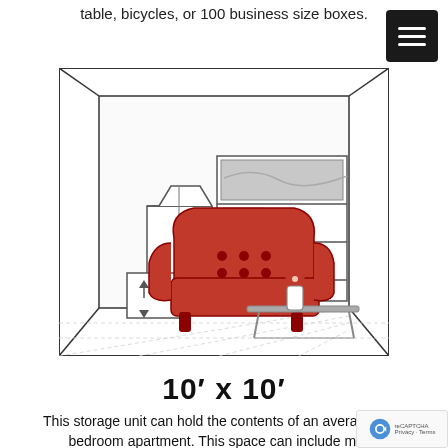table, bicycles, or 100 business size boxes.
[Figure (illustration): Illustration of a 10x10 storage unit interior showing a red armchair, cardboard boxes, shelving unit with items, and a small table with a flower vase inside a room drawn in perspective with outline walls and floor.]
10’ x 10’
This storage unit can hold the contents of an average one-bedroom apartment. This space can include major